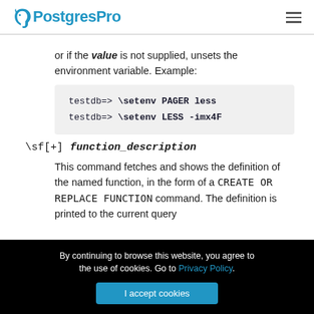PostgresPro
or if the value is not supplied, unsets the environment variable. Example:
testdb=> \setenv PAGER less
testdb=> \setenv LESS -imx4F
\sf[+] function_description
This command fetches and shows the definition of the named function, in the form of a CREATE OR REPLACE FUNCTION command. The definition is printed to the current query
By continuing to browse this website, you agree to the use of cookies. Go to Privacy Policy.
I accept cookies